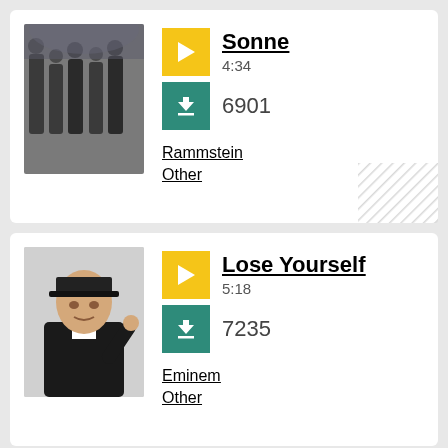[Figure (photo): Black and white photo of Rammstein band members standing in a corridor]
Sonne
4:34
6901
Rammstein
Other
[Figure (photo): Photo of Eminem in black jacket pointing at camera]
Lose Yourself
5:18
7235
Eminem
Other